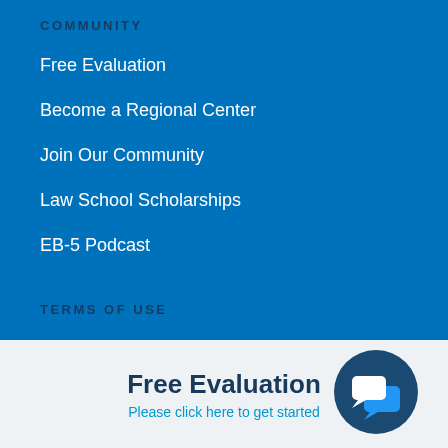COMMUNITY
Free Evaluation
Become a Regional Center
Join Our Community
Law School Scholarships
EB-5 Podcast
TERMS OF USE
Attorney Member Terms of Use
Regional Center Terms of Use
Free Evaluation
Please click here to get started